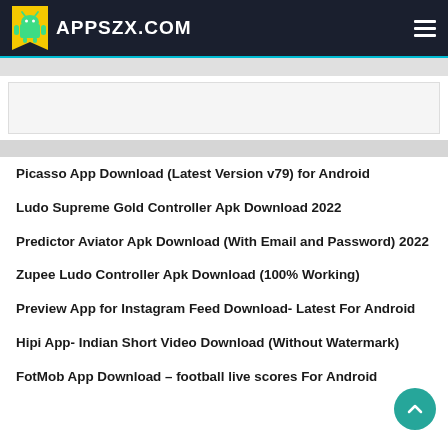APPSZX.COM
Picasso App Download (Latest Version v79) for Android
Ludo Supreme Gold Controller Apk Download 2022
Predictor Aviator Apk Download (With Email and Password) 2022
Zupee Ludo Controller Apk Download (100% Working)
Preview App for Instagram Feed Download- Latest For Android
Hipi App- Indian Short Video Download (Without Watermark)
FotMob App Download – football live scores For Android